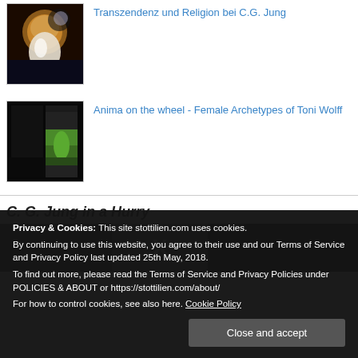[Figure (photo): Thumbnail image with dark background featuring a figure with curly/golden hair and a moon, mystical/artistic style]
Transzendenz und Religion bei C.G. Jung
[Figure (photo): Thumbnail image with dark border, green landscape/nature scene with figure, artistic style]
Anima on the wheel - Female Archetypes of Toni Wolff
C. G. Jung in a Hurry
Privacy & Cookies: This site stottilien.com uses cookies.
By continuing to use this website, you agree to their use and our Terms of Service and Privacy Policy last updated 25th May, 2018.
To find out more, please read the Terms of Service and Privacy Policies under POLICIES & ABOUT or https://stottilien.com/about/
For how to control cookies, see also here. Cookie Policy
Close and accept